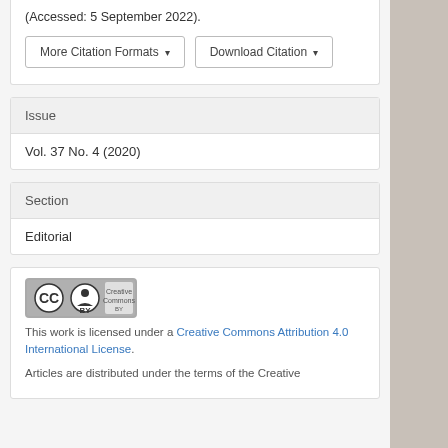(Accessed: 5 September 2022).
More Citation Formats ▾   Download Citation ▾
Issue
Vol. 37 No. 4 (2020)
Section
Editorial
[Figure (logo): Creative Commons BY license badge showing CC and BY icons in a rounded rectangle]
This work is licensed under a Creative Commons Attribution 4.0 International License.
Articles are distributed under the terms of the Creative